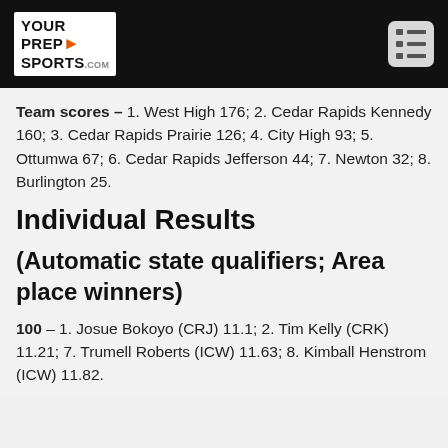YourPrepSports.com logo and menu icon
Team scores – 1. West High 176; 2. Cedar Rapids Kennedy 160; 3. Cedar Rapids Prairie 126; 4. City High 93; 5. Ottumwa 67; 6. Cedar Rapids Jefferson 44; 7. Newton 32; 8. Burlington 25.
Individual Results
(Automatic state qualifiers; Area place winners)
100 – 1. Josue Bokoyo (CRJ) 11.1; 2. Tim Kelly (CRK) 11.21; 7. Trumell Roberts (ICW) 11.63; 8. Kimball Henstrom (ICW) 11.82.